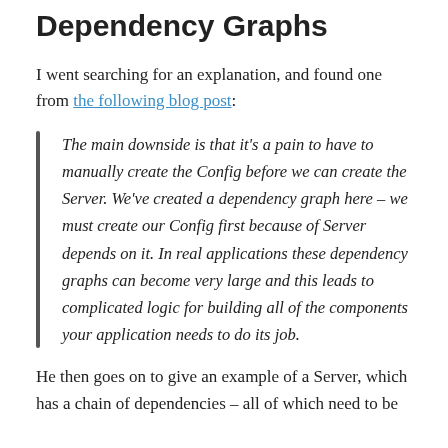Dependency Graphs
I went searching for an explanation, and found one from the following blog post:
The main downside is that it’s a pain to have to manually create the Config before we can create the Server. We’ve created a dependency graph here – we must create our Config first because of Server depends on it. In real applications these dependency graphs can become very large and this leads to complicated logic for building all of the components your application needs to do its job.
He then goes on to give an example of a Server, which has a chain of dependencies – all of which need to be constructed in your code (not directly in function...